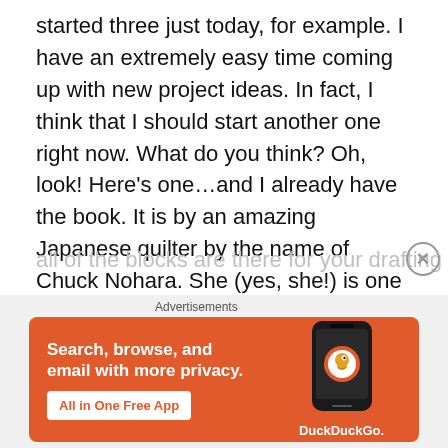started three just today, for example.  I have an extremely easy time coming up with new project ideas.  In fact, I think that I should start another one right now.  What do you think?  Oh, look!  Here's one…and I already have the book.  It is by an amazing Japanese quilter by the name of Chuck Nohara.  She (yes, she!) is one of Japan's first quilt instructors.  She has a few other publications as well; but this one, called 2001 Nouveaux Blocs de Patchwork, is chock full of beautiful quilt blocks that will truly keep you stitching for years.  It is printed in French, but has an English translation; regardless, words are not needed, as all of the blocks are there for your drafting pleasure.  It is
Advertisements
[Figure (infographic): DuckDuckGo advertisement banner. Orange background with white text: 'Search, browse, and email with more privacy. All in One Free App'. Shows a smartphone with DuckDuckGo logo.]